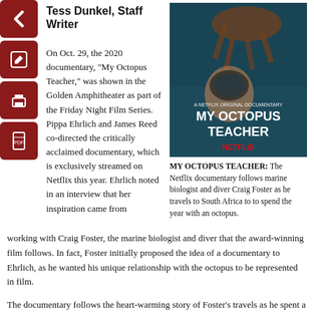Tess Dunkel, Staff Writer
[Figure (other): Navigation/action icons in dark red boxes: back arrow, edit/pencil, print, PDF document]
[Figure (photo): Movie poster for 'My Octopus Teacher' - A Netflix Original Documentary. Shows a diver underwater with an octopus.]
MY OCTOPUS TEACHER: The Netflix documentary follows marine biologist and diver Craig Foster as he travels to South Africa to to spend the year with an octopus.
On Oct. 29, the 2020 documentary, “My Octopus Teacher,” was shown in the Golden Amphitheater as part of the Friday Night Film Series. Pippa Ehrlich and James Reed co-directed the critically acclaimed documentary, which is exclusively streamed on Netflix this year. Ehrlich noted in an interview that her inspiration came from working with Craig Foster, the marine biologist and diver that the award-winning film follows. In fact, Foster initially proposed the idea of a documentary to Ehrlich, as he wanted his unique relationship with the octopus to be represented in film.
The documentary follows the heart-warming story of Foster’s travels as he spent a year with a wild octopus off the coast of South Africa. Foster, who had been battling depression and self-worth issues, began diving as